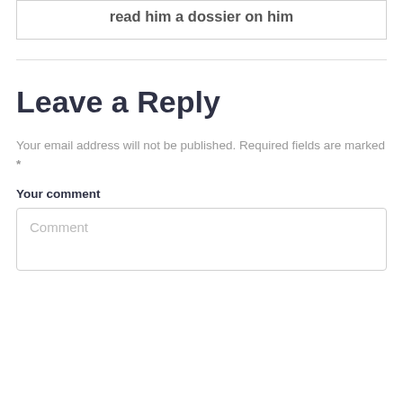read him a dossier on him
Leave a Reply
Your email address will not be published. Required fields are marked *
Your comment
Comment